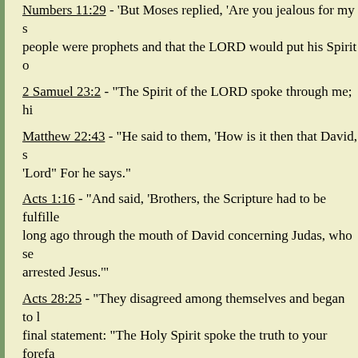Numbers 11:29 - 'But Moses replied, 'Are you jealous for my sake? I wish that all the LORD's people were prophets and that the LORD would put his Spirit on them.'
2 Samuel 23:2 - "The Spirit of the LORD spoke through me; hi..."
Matthew 22:43 - "He said to them, 'How is it then that David, s... 'Lord" For he says."
Acts 1:16 - "And said, 'Brothers, the Scripture had to be fulfilled... long ago through the mouth of David concerning Judas, who se... arrested Jesus.'"
Acts 28:25 - "They disagreed among themselves and began to l... final statement: "The Holy Spirit spoke the truth to your forefa... the prophet."
Hebrews 10:15 - "The Holy Spirit also testifies to us about this..."
II. INSPIRATION
2 Timothy 3:16-17 - "All Scripture is God-breathed and is usef... correcting and training in righteousness, so that the man of God... every good work."
III. SOME IMPORTANT POINTS.
A. The Bible is not God; not the Father, the Holy Spirit or Christ.
1. The Scriptures are inspired by God, but this does not mean th... Timothy 3:16)